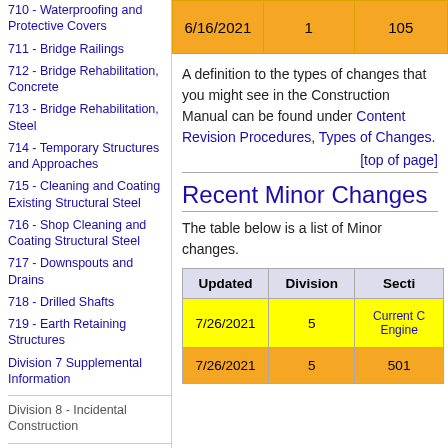| Updated | Division | Section |
| --- | --- | --- |
| 6/16/2021 | 1 | 105 |
710 - Waterproofing and Protective Covers
711 - Bridge Railings
712 - Bridge Rehabilitation, Concrete
713 - Bridge Rehabilitation, Steel
714 - Temporary Structures and Approaches
715 - Cleaning and Coating Existing Structural Steel
716 - Shop Cleaning and Coating Structural Steel
717 - Downspouts and Drains
718 - Drilled Shafts
719 - Earth Retaining Structures
Division 7 Supplemental Information
Division 8 - Incidental Construction
801 - Concrete Drains
A definition to the types of changes that you might see in the Construction Manual can be found under Content Revision Procedures, Types of Changes.
[top of page]
Recent Minor Changes
The table below is a list of Minor changes.
| Updated | Division | Section |
| --- | --- | --- |
| 7/26/2021 | 5 | Current Construction Engineer |
| 7/26/2021 | 5 | 501 |